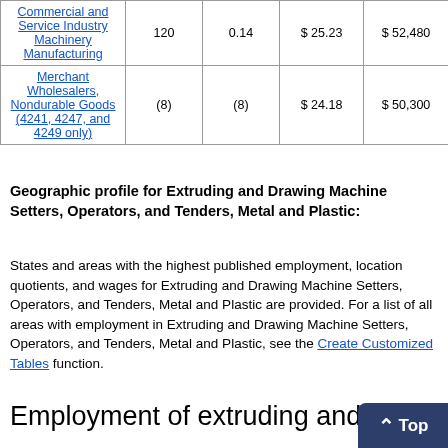| Industry | Employment | Percent of industry employment | Hourly mean wage | Annual mean wage |
| --- | --- | --- | --- | --- |
| Commercial and Service Industry Machinery Manufacturing | 120 | 0.14 | $ 25.23 | $ 52,480 |
| Merchant Wholesalers, Nondurable Goods (4241, 4247, and 4249 only) | (8) | (8) | $ 24.18 | $ 50,300 |
Geographic profile for Extruding and Drawing Machine Setters, Operators, and Tenders, Metal and Plastic:
States and areas with the highest published employment, location quotients, and wages for Extruding and Drawing Machine Setters, Operators, and Tenders, Metal and Plastic are provided. For a list of all areas with employment in Extruding and Drawing Machine Setters, Operators, and Tenders, Metal and Plastic, see the Create Customized Tables function.
Employment of extruding and